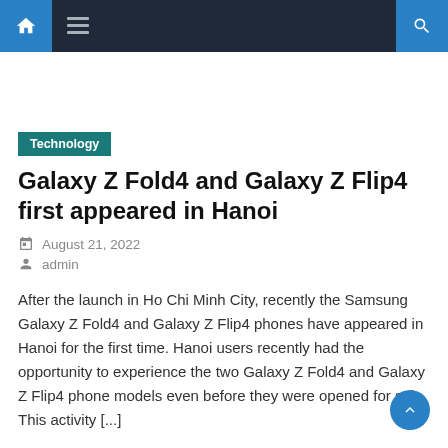Navigation bar with home, menu, and search icons
Technology
Galaxy Z Fold4 and Galaxy Z Flip4 first appeared in Hanoi
August 21, 2022
admin
After the launch in Ho Chi Minh City, recently the Samsung Galaxy Z Fold4 and Galaxy Z Flip4 phones have appeared in Hanoi for the first time. Hanoi users recently had the opportunity to experience the two Galaxy Z Fold4 and Galaxy Z Flip4 phone models even before they were opened for sale. This activity [...]